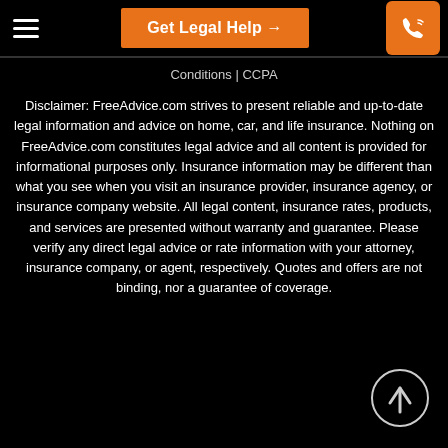≡   Get Legal Help →   [phone icon]
Conditions | CCPA
Disclaimer: FreeAdvice.com strives to present reliable and up-to-date legal information and advice on home, car, and life insurance. Nothing on FreeAdvice.com constitutes legal advice and all content is provided for informational purposes only. Insurance information may be different than what you see when you visit an insurance provider, insurance agency, or insurance company website. All legal content, insurance rates, products, and services are presented without warranty and guarantee. Please verify any direct legal advice or rate information with your attorney, insurance company, or agent, respectively. Quotes and offers are not binding, nor a guarantee of coverage.